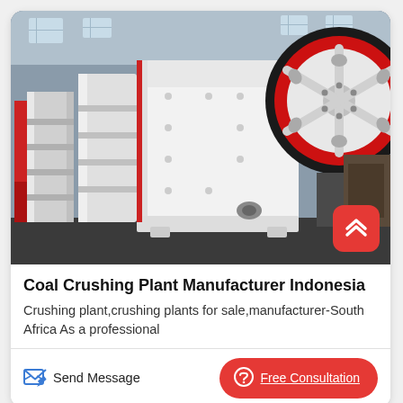[Figure (photo): Industrial jaw crusher machines in white and red color, multiple units lined up in a factory/warehouse setting. Large red flywheel visible on the right side. A red scroll-to-top button overlay is visible in the bottom-right of the image.]
Coal Crushing Plant Manufacturer Indonesia
Crushing plant,crushing plants for sale,manufacturer-South Africa As a professional